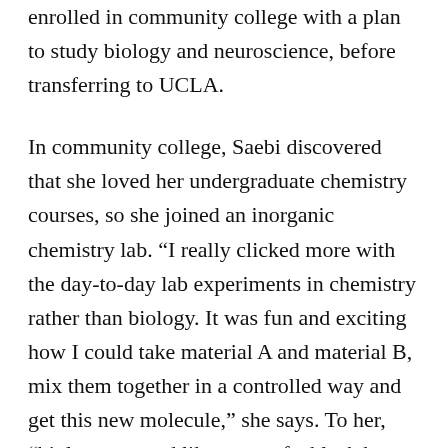enrolled in community college with a plan to study biology and neuroscience, before transferring to UCLA.
In community college, Saebi discovered that she loved her undergraduate chemistry courses, so she joined an inorganic chemistry lab. “I really clicked more with the day-to-day lab experiments in chemistry rather than biology. It was fun and exciting how I could take material A and material B, mix them together in a controlled way and get this new molecule,” she says. To her, “biology seemed like more of a black box. With chemistry, I could check the progress at every step along the way.”
At MIT, Saebi is working at the intersection of chemistry and biology, designing novel strategies to